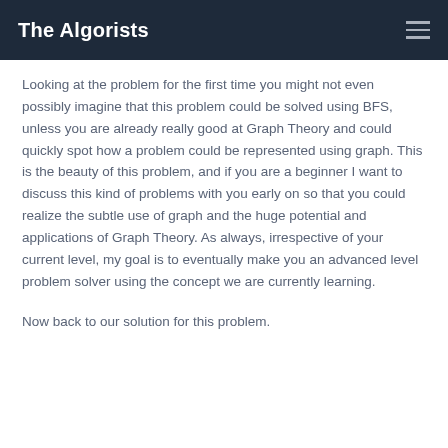The Algorists
Looking at the problem for the first time you might not even possibly imagine that this problem could be solved using BFS, unless you are already really good at Graph Theory and could quickly spot how a problem could be represented using graph. This is the beauty of this problem, and if you are a beginner I want to discuss this kind of problems with you early on so that you could realize the subtle use of graph and the huge potential and applications of Graph Theory. As always, irrespective of your current level, my goal is to eventually make you an advanced level problem solver using the concept we are currently learning.
Now back to our solution for this problem.